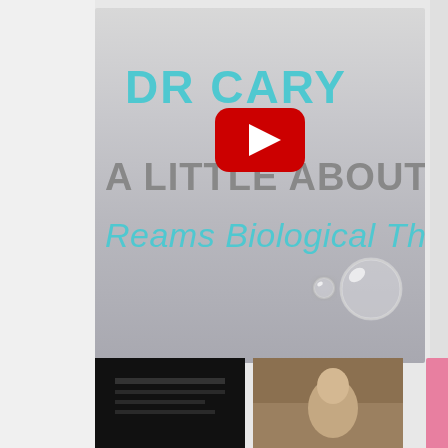[Figure (screenshot): YouTube video thumbnail showing 'DR CARY' in teal text, 'A LITTLE ABOUT R' in gray text, 'Reams Biological Th' in teal italic text, with a YouTube play button overlay and water droplet graphics in the lower right. Below are two smaller video thumbnails.]